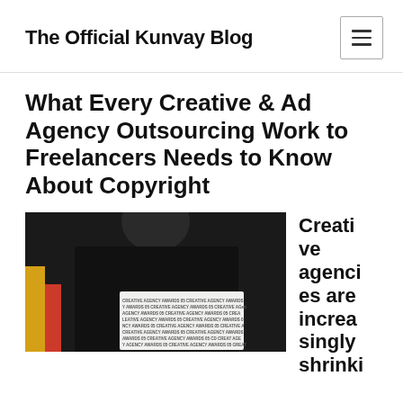The Official Kunvay Blog
What Every Creative & Ad Agency Outsourcing Work to Freelancers Needs to Know About Copyright
[Figure (photo): Person in a black t-shirt holding a white book/box with 'Creative Agency Awards' text repeated on it, shown against a dark background with colorful items visible.]
Creative agencies are increasingly shrinki